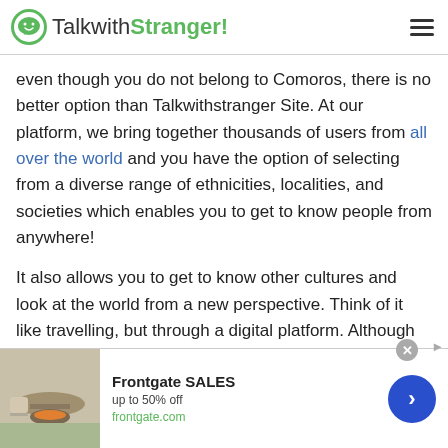TalkwithStranger!
even though you do not belong to Comoros, there is no better option than Talkwithstranger Site. At our platform, we bring together thousands of users from all over the world and you have the option of selecting from a diverse range of ethnicities, localities, and societies which enables you to get to know people from anywhere!
It also allows you to get to know other cultures and look at the world from a new perspective. Think of it like travelling, but through a digital platform. Although you don't get to see new destinations every day like you would on a vacation, you are meeting new people and
[Figure (screenshot): Advertisement banner for Frontgate SALES - up to 50% off, frontgate.com, with outdoor furniture image and blue arrow button]